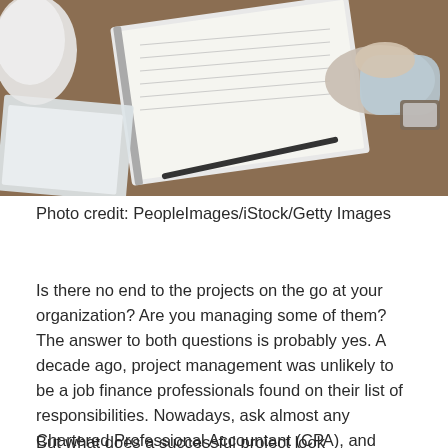[Figure (photo): Overhead view of people at a wooden table with notebooks, papers with handwriting/numbers, and hands visible, suggesting a business or finance meeting setting.]
Photo credit: PeopleImages/iStock/Getty Images
Is there no end to the projects on the go at your organization? Are you managing some of them? The answer to both questions is probably yes. A decade ago, project management was unlikely to be a job finance professionals found on their list of responsibilities. Nowadays, ask almost any Chartered Professional Accountant (CPA), and most will tell you they are project managers.
But what does a successful project look